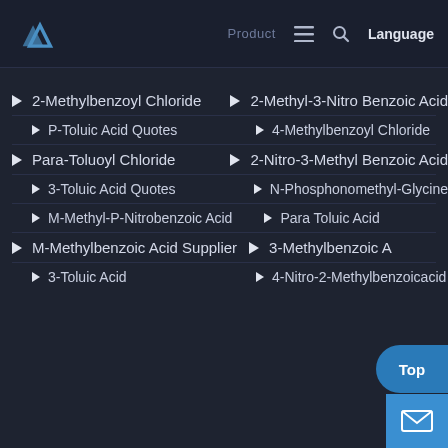Language
2-Methylbenzoyl Chloride
2-Methyl-3-Nitro Benzoic Acid
P-Toluic Acid Quotes
4-Methylbenzoyl Chloride
Para-Toluoyl Chloride
2-Nitro-3-Methyl Benzoic Acid
3-Toluic Acid Quotes
N-Phosphonomethyl-Glycine
M-Methyl-P-Nitrobenzoic Acid
Para Toluic Acid
M-Methylbenzoic Acid Supplier
3-Methylbenzoic A…
3-Toluic Acid
4-Nitro-2-Methylbenzoicacid